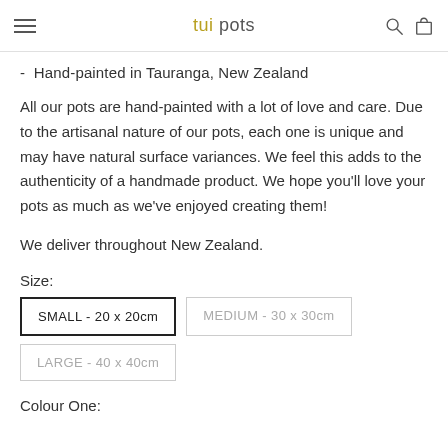tui pots
- Hand-painted in Tauranga, New Zealand
All our pots are hand-painted with a lot of love and care. Due to the artisanal nature of our pots, each one is unique and may have natural surface variances. We feel this adds to the authenticity of a handmade product. We hope you'll love your pots as much as we've enjoyed creating them!
We deliver throughout New Zealand.
Size:
SMALL - 20 x 20cm
MEDIUM - 30 x 30cm
LARGE - 40 x 40cm
Colour One: